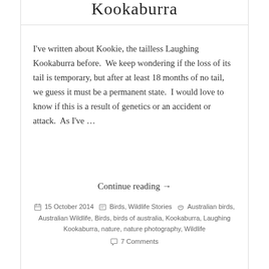Kookaburra
I've written about Kookie, the tailless Laughing Kookaburra before.  We keep wondering if the loss of its tail is temporary, but after at least 18 months of no tail, we guess it must be a permanent state.  I would love to know if this is a result of genetics or an accident or attack.  As I've …
Continue reading →
15 October 2014   Birds, Wildlife Stories   Australian birds, Australian Wildlife, Birds, birds of australia, Kookaburra, Laughing Kookaburra, nature, nature photography, Wildlife   7 Comments